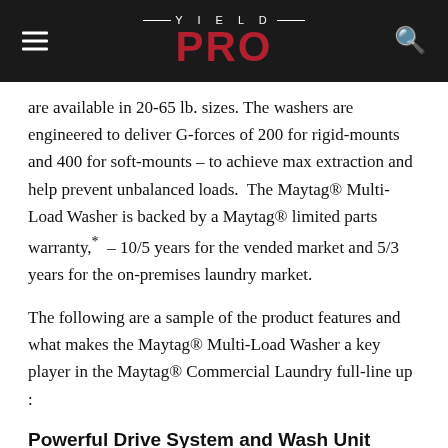YIELD PRO
are available in 20-65 lb. sizes. The washers are engineered to deliver G-forces of 200 for rigid-mounts and 400 for soft-mounts – to achieve max extraction and help prevent unbalanced loads.  The Maytag® Multi-Load Washer is backed by a Maytag® limited parts warranty,*  – 10/5 years for the vended market and 5/3 years for the on-premises laundry market.
The following are a sample of the product features and what makes the Maytag® Multi-Load Washer a key player in the Maytag® Commercial Laundry full-line up :
Powerful Drive System and Wash Unit
Designed with a Variable Frequency Drive System, and commercial-grade motor – the machine is built to give the